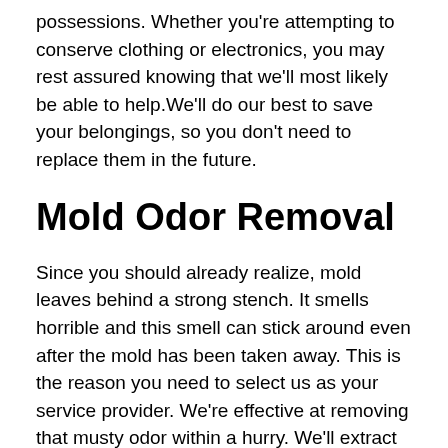possessions. Whether you're attempting to conserve clothing or electronics, you may rest assured knowing that we'll most likely be able to help.We'll do our best to save your belongings, so you don't need to replace them in the future.
Mold Odor Removal
Since you should already realize, mold leaves behind a strong stench. It smells horrible and this smell can stick around even after the mold has been taken away. This is the reason you need to select us as your service provider. We're effective at removing that musty odor within a hurry. We'll extract the mold and then we'll clean the air in your home. After we have gone, your home will smell fresh and new once again. With us, you can sleep soundly knowing that each and every particle of this harmful mold was removed from your premises.